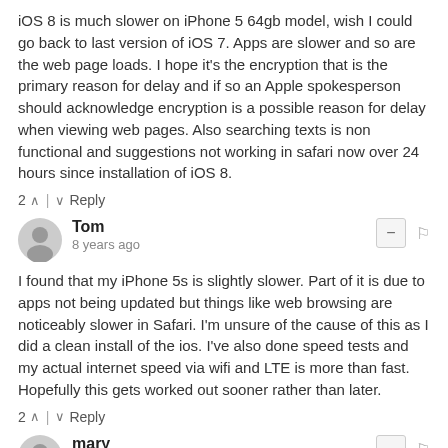iOS 8 is much slower on iPhone 5 64gb model, wish I could go back to last version of iOS 7. Apps are slower and so are the web page loads. I hope it's the encryption that is the primary reason for delay and if so an Apple spokesperson should acknowledge encryption is a possible reason for delay when viewing web pages. Also searching texts is non functional and suggestions not working in safari now over 24 hours since installation of iOS 8.
2 ^ | v Reply
Tom
8 years ago
I found that my iPhone 5s is slightly slower. Part of it is due to apps not being updated but things like web browsing are noticeably slower in Safari. I'm unsure of the cause of this as I did a clean install of the ios. I've also done speed tests and my actual internet speed via wifi and LTE is more than fast. Hopefully this gets worked out sooner rather than later.
2 ^ | v Reply
mary
8 years ago